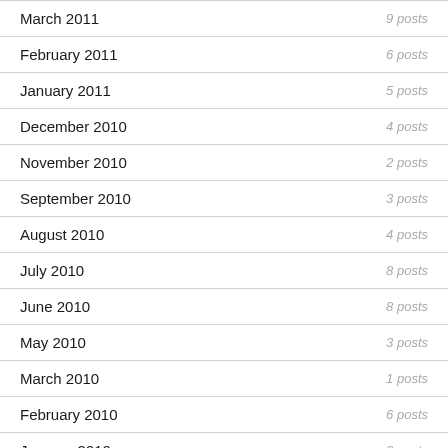March 2011 — 9 posts
February 2011 — 6 posts
January 2011 — 5 posts
December 2010 — 4 posts
November 2010 — 2 posts
September 2010 — 3 posts
August 2010 — 4 posts
July 2010 — 8 posts
June 2010 — 8 posts
May 2010 — 3 posts
March 2010 — 1 posts
February 2010 — 6 posts
January 2010 — 2 posts